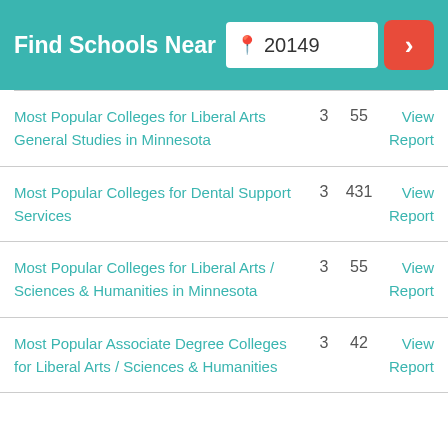Find Schools Near 20149
Most Popular Colleges for Liberal Arts General Studies in Minnesota  3  55  View Report
Most Popular Colleges for Dental Support Services  3  431  View Report
Most Popular Colleges for Liberal Arts / Sciences & Humanities in Minnesota  3  55  View Report
Most Popular Associate Degree Colleges for Liberal Arts / Sciences & Humanities  3  42  View Report